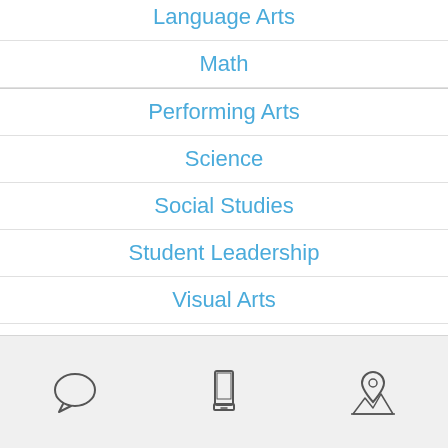Language Arts
Math
Performing Arts
Science
Social Studies
Student Leadership
Visual Arts
Vocational Training
[Figure (illustration): App navigation bar with three icons: speech bubble (chat), smartphone, and map pin with mountains (location)]